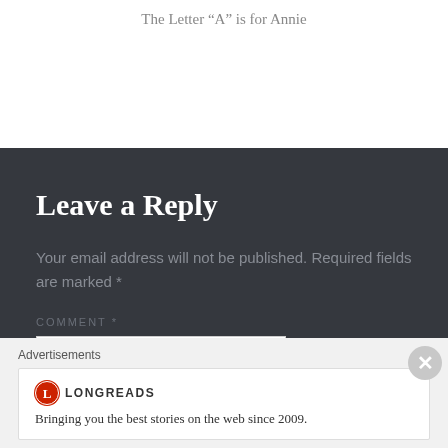The Letter “A” is for Annie
Leave a Reply
Your email address will not be published. Required fields are marked *
COMMENT *
Advertisements
Bringing you the best stories on the web since 2009.